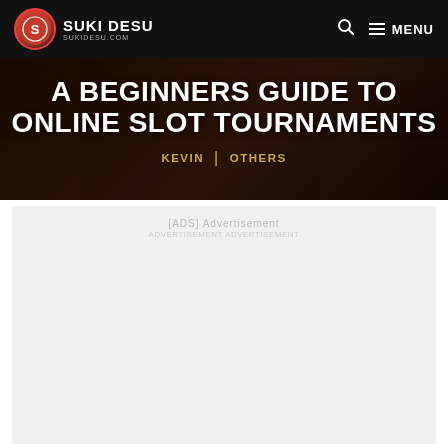SUKI DESU | MENU
A BEGINNERS GUIDE TO ONLINE SLOT TOURNAMENTS
KEVIN | OTHERS
[ADS] Advertisement